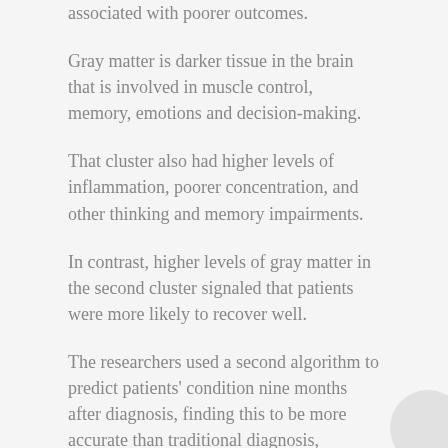in the first cluster, lower volumes of gray matter were associated with poorer outcomes.
Gray matter is darker tissue in the brain that is involved in muscle control, memory, emotions and decision-making.
That cluster also had higher levels of inflammation, poorer concentration, and other thinking and memory impairments.
In contrast, higher levels of gray matter in the second cluster signaled that patients were more likely to recover well.
The researchers used a second algorithm to predict patients' condition nine months after diagnosis, finding this to be more accurate than traditional diagnosis, according to the study.